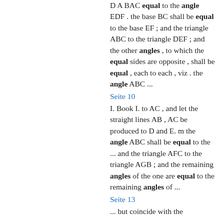D A BAC equal to the angle EDF . the base BC shall be equal to the base EF ; and the triangle ABC to the triangle DEF ; and the other angles , to which the equal sides are opposite , shall be equal , each to each , viz . the angle ABC ...
Seite 10
I. Book I. to AC , and let the straight lines AB , AC be produced to D and E. m the angle ABC shall be equal to the ... and the triangle AFC to the triangle AGB ; and the remaining angles of the one are equal to the remaining angles of ...
Seite 13
... but coincide with the